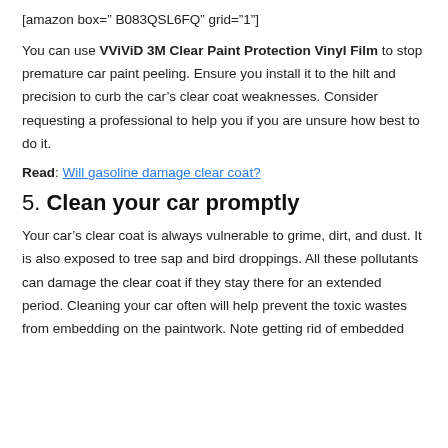[amazon box=" B083QSL6FQ" grid="1"]
You can use VViViD 3M Clear Paint Protection Vinyl Film to stop premature car paint peeling. Ensure you install it to the hilt and precision to curb the car’s clear coat weaknesses. Consider requesting a professional to help you if you are unsure how best to do it.
Read: Will gasoline damage clear coat?
5. Clean your car promptly
Your car’s clear coat is always vulnerable to grime, dirt, and dust. It is also exposed to tree sap and bird droppings. All these pollutants can damage the clear coat if they stay there for an extended period. Cleaning your car often will help prevent the toxic wastes from embedding on the paintwork. Note getting rid of embedded